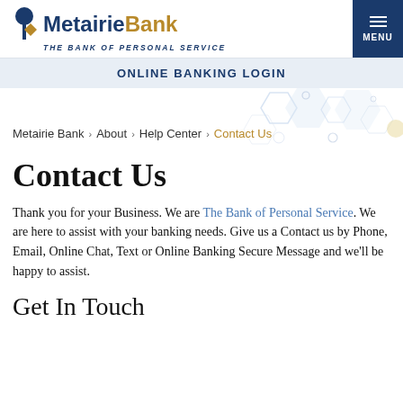Metairie Bank — THE BANK OF PERSONAL SERVICE | MENU
ONLINE BANKING LOGIN
Metairie Bank › About › Help Center › Contact Us
Contact Us
Thank you for your Business. We are The Bank of Personal Service. We are here to assist with your banking needs. Give us a Contact us by Phone, Email, Online Chat, Text or Online Banking Secure Message and we'll be happy to assist.
Get In Touch